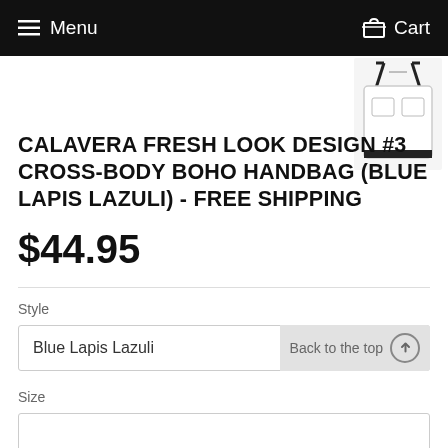Menu  Cart
[Figure (photo): Small thumbnail of a white cross-body boho handbag product image in top-right corner]
CALAVERA FRESH LOOK DESIGN #3 CROSS-BODY BOHO HANDBAG (BLUE LAPIS LAZULI) - FREE SHIPPING
$44.95
Style
Blue Lapis Lazuli
Back to the top
Size